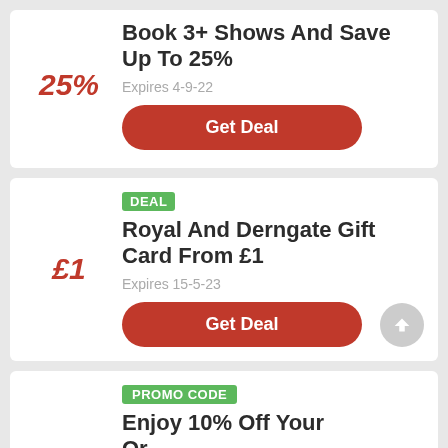Book 3+ Shows And Save Up To 25%
Expires 4-9-22
Get Deal
DEAL
Royal And Derngate Gift Card From £1
Expires 15-5-23
Get Deal
PROMO CODE
Enjoy 10% Off Your Order